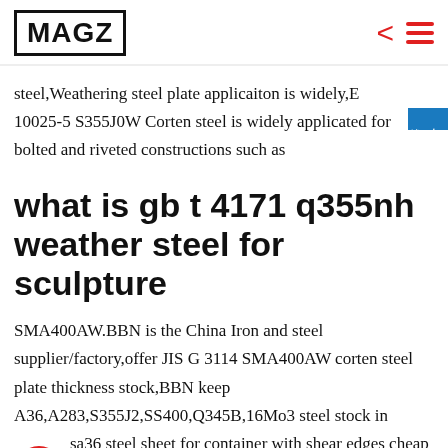MAGZ
steel,Weathering steel plate applicaiton is widely,E 10025-5 S355J0W Corten steel is widely applicated for bolted and riveted constructions such as
what is gb t 4171 q355nh weather steel for sculpture
SMA400AW.BBN is the China Iron and steel supplier/factory,offer JIS G 3114 SMA400AW corten steel plate thickness stock,BBN keep A36,A283,S355J2,SS400,Q345B,16Mo3 steel stock in China,sa36 steel sheet for container with shear edges cheap carbon steel plate,weather resistant